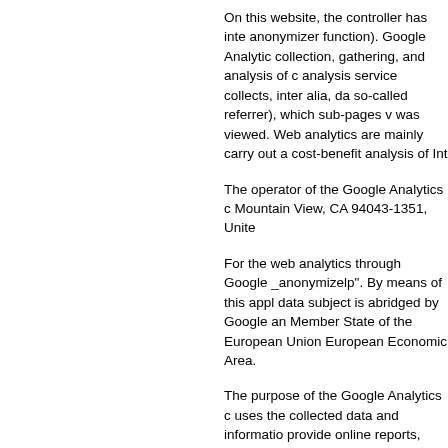On this website, the controller has inte anonymizer function). Google Analytics collection, gathering, and analysis of d analysis service collects, inter alia, da so-called referrer), which sub-pages w was viewed. Web analytics are mainly carry out a cost-benefit analysis of Int
The operator of the Google Analytics Mountain View, CA 94043-1351, Unite
For the web analytics through Google _anonymizelp". By means of this appl data subject is abridged by Google an Member State of the European Union European Economic Area.
The purpose of the Google Analytics uses the collected data and informatio provide online reports, which show th concerning the use of our Internet site
Google Analytics places a cookie on t definition of cookies is explained abov analyze the use of our website. With e site, which is operated by the controlle integrated, the Internet browser on the automatically submit data through the advertising and the settlement of com